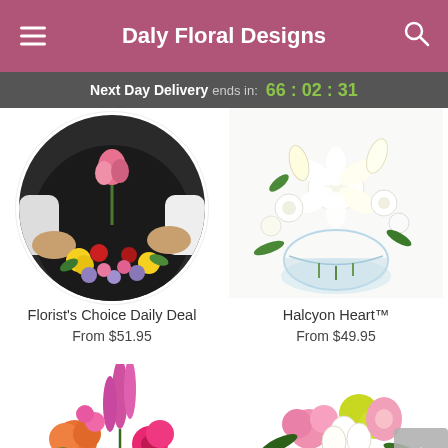Daly Floral Designs
Next Day Delivery ends in: 66 : 02 : 31
[Figure (photo): Florist holding a pink rose over a colorful mixed flower arrangement, circular crop]
[Figure (photo): White lily and freesia arrangement in a round glass vase]
Florist's Choice Daily Deal
From $51.95
Halcyon Heart™
From $49.95
[Figure (photo): Colorful floral arrangement with orange roses, pink larkspur, and magenta gerbera daisies]
[Figure (photo): Mixed pastel arrangement with pink roses, white alstroemeria, and yellow-green flowers]